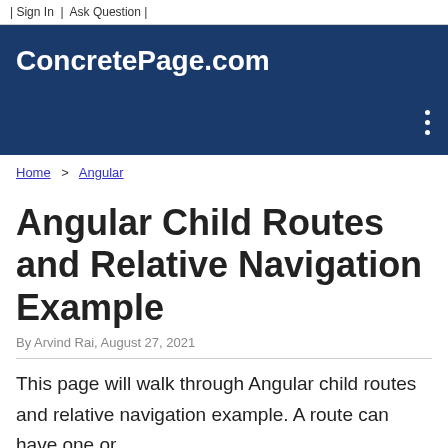| Sign In | Ask Question |
ConcretePage.com
Home > Angular
Angular Child Routes and Relative Navigation Example
By Arvind Rai, August 27, 2021
This page will walk through Angular child routes and relative navigation example. A route can have one or